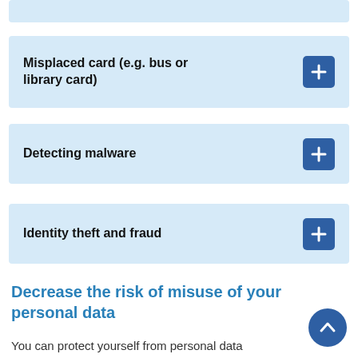Misplaced card (e.g. bus or library card)
Detecting malware
Identity theft and fraud
Decrease the risk of misuse of your personal data
You can protect yourself from personal data